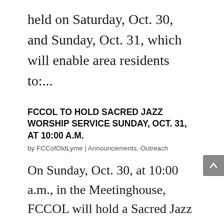held on Saturday, Oct. 30, and Sunday, Oct. 31, which will enable area residents to:...
FCCOL TO HOLD SACRED JAZZ WORSHIP SERVICE SUNDAY, OCT. 31, AT 10:00 A.M.
by FCCofOldLyme | Announcements, Outreach
On Sunday, Oct. 30, at 10:00 a.m., in the Meetinghouse, FCCOL will hold a Sacred Jazz worship service led by Dr. Michael White and his New Orleans Jazz Ensemble. In announcing the worship service, Senior Minister Rev.